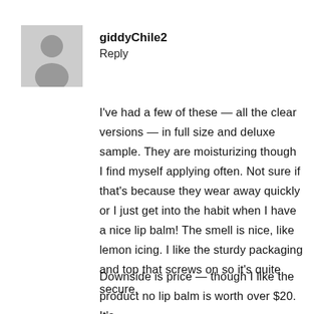[Figure (illustration): Gray placeholder avatar image of a person silhouette]
giddyChile2
Reply
I've had a few of these — all the clear versions — in full size and deluxe sample. They are moisturizing though I find myself applying often. Not sure if that's because they wear away quickly or I just get into the habit when I have a nice lip balm! The smell is nice, like lemon icing. I like the sturdy packaging and top that screws on so it's quite secure.
Downside is price — though I like the product no lip balm is worth over $20. It's